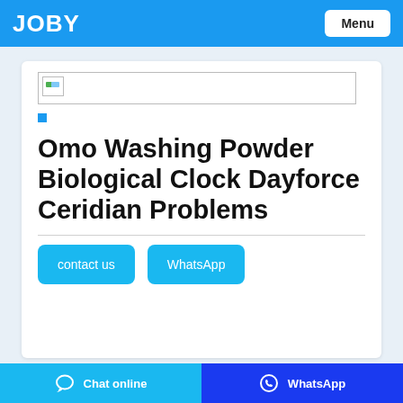JOBY | Menu
[Figure (other): Broken image placeholder — a bordered rectangle with a small broken image icon in the top-left corner]
Omo Washing Powder Biological Clock Dayforce Ceridian Problems
contact us   WhatsApp
Chat online   WhatsApp